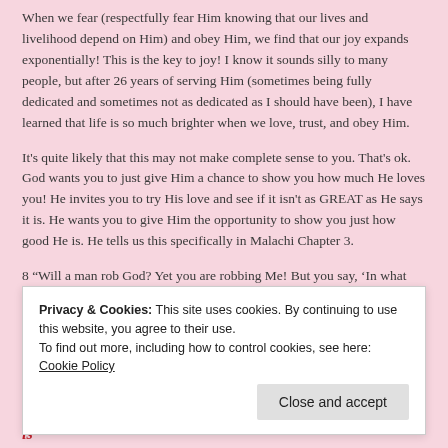When we fear (respectfully fear Him knowing that our lives and livelihood depend on Him) and obey Him, we find that our joy expands exponentially! This is the key to joy! I know it sounds silly to many people, but after 26 years of serving Him (sometimes being fully dedicated and sometimes not as dedicated as I should have been), I have learned that life is so much brighter when we love, trust, and obey Him.
It's quite likely that this may not make complete sense to you. That's ok. God wants you to just give Him a chance to show you how much He loves you! He invites you to try His love and see if it isn't as GREAT as He says it is. He wants you to give Him the opportunity to show you just how good He is. He tells us this specifically in Malachi Chapter 3.
8 “Will a man rob God? Yet you are robbing Me! But you say, ‘In what
heaven and pour out for you [so great] a blessing until there is